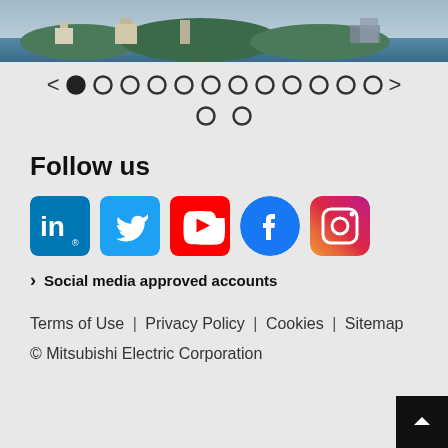[Figure (photo): Aerial or landscape photo strip showing buildings and greenery near water]
[Figure (other): Carousel navigation: left arrow, 12 dots (first filled), right arrow, then 2 more dots on second row]
Follow us
[Figure (other): Row of social media icons: LinkedIn, Twitter, YouTube, Facebook, Instagram]
> Social media approved accounts
Terms of Use | Privacy Policy | Cookies | Sitemap
© Mitsubishi Electric Corporation